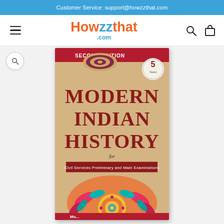Customer Service: support@howzzthat.com
[Figure (logo): Howzzthat.com logo with orange and blue color scheme]
[Figure (photo): Book cover: Modern Indian History for Civil Services Preliminary and Main Examinations, Second Edition, with decorative mandala design on a beige background]